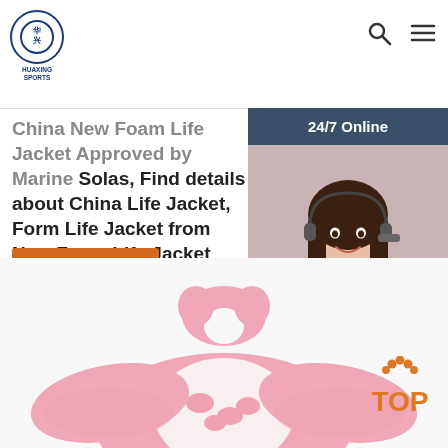Huaxing Sports - logo and navigation
China New Foam Life Jacket Approved by Marine Solas, Find details about China Life Jacket, Form Life Jacket from New Foam Life Jacket Approved by Marine Solas - Jingjiang Trust Tradi
Get Price
[Figure (photo): Sidebar chat widget showing 24/7 Online label, photo of female customer service agent with headset, Click here for free chat! text, and QUOTATION button]
[Figure (photo): Pink foam life jacket for children displayed from above, with whale pattern fabric on the front body section]